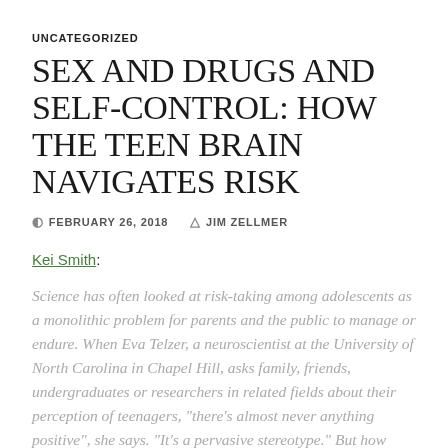UNCATEGORIZED
SEX AND DRUGS AND SELF-CONTROL: HOW THE TEEN BRAIN NAVIGATES RISK
FEBRUARY 26, 2018   JIM ZELLMER
Kei Smith:
Science has often looked at risk-taking among adolescents as a monolithic problem for parents and the public to manage or endure. When Eva Telzer, a neuroscientist at the University of North Carolina in Chapel Hill, asks family, friends, undergraduates or researchers in related fields about their perception of teenagers, "there's almost never anything positive", she says. "It's a pervasive stereotype." But how Alex and Cole